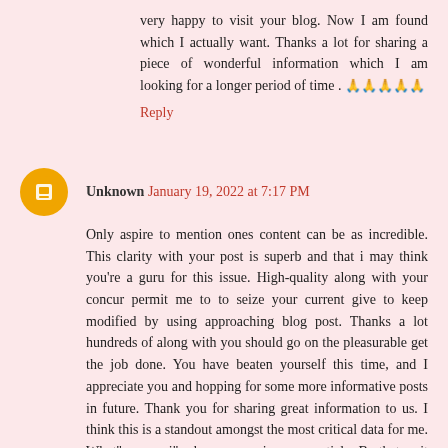very happy to visit your blog. Now I am found which I actually want. Thanks a lot for sharing a piece of wonderful information which I am looking for a longer period of time . 🙏🙏🙏🙏🙏
Reply
Unknown January 19, 2022 at 7:17 PM
Only aspire to mention ones content can be as incredible. This clarity with your post is superb and that i may think you're a guru for this issue. High-quality along with your concur permit me to to seize your current give to keep modified by using approaching blog post. Thanks a lot hundreds of along with you should go on the pleasurable get the job done. You have beaten yourself this time, and I appreciate you and hopping for some more informative posts in future. Thank you for sharing great information to us. I think this is a standout amongst the most critical data for me. What"s more, i"m happy perusing your article. Be that as it may, ought to comment on some broad things 🙏🙏🙏🙏🙏
Reply